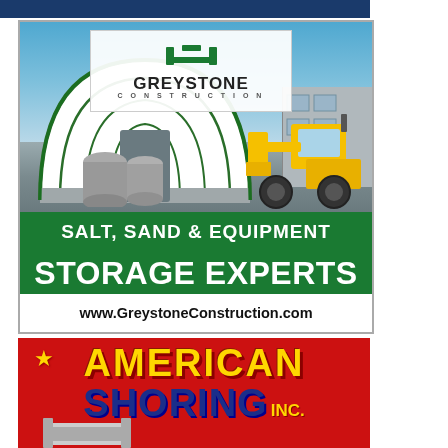[Figure (advertisement): Greystone Construction advertisement showing an arched fabric storage tent/dome with a yellow front loader machine. Green banner reads 'SALT, SAND & EQUIPMENT STORAGE EXPERTS' and website www.GreystoneConstruction.com]
[Figure (advertisement): American Shoring Inc. advertisement on red background with gold/blue stylized text and star logo, partially showing shoring equipment at the bottom]